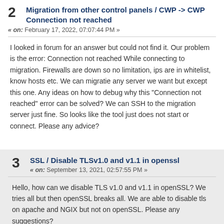2 Migration from other control panels / CWP -> CWP Connection not reached
« on: February 17, 2022, 07:07:44 PM »
I looked in forum for an answer but could not find it. Our problem is the error: Connection not reached While connecting to migration. Firewalls are down so no limitation, ips are in whitelist, know hosts etc. We can migratie any server we want but except this one. Any ideas on how to debug why this "Connection not reached" error can be solved? We can SSH to the migration server just fine. So looks like the tool just does not start or connect. Please any advice?
3 SSL / Disable TLSv1.0 and v1.1 in openssl
« on: September 13, 2021, 02:57:55 PM »
Hello, how can we disable TLS v1.0 and v1.1 in openSSL? We tries all but then openSSL breaks all. We are able to disable tls on apache and NGIX but not on openSSL. Please any suggestions?

Thanks, Ron